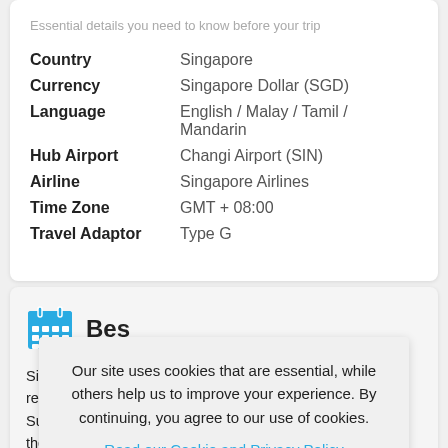Essential details you need to know before your trip
| Label | Value |
| --- | --- |
| Country | Singapore |
| Currency | Singapore Dollar (SGD) |
| Language | English / Malay / Tamil / Mandarin |
| Hub Airport | Changi Airport (SIN) |
| Airline | Singapore Airlines |
| Time Zone | GMT + 08:00 |
| Travel Adaptor | Type G |
[Figure (illustration): Blue calendar icon]
Bes...
Singapore... remains ho... Summer (... there is a f... indulge in the famous Great Singapore Sale and foodies can relish the Singapore Food Festival. The shoulder season, between February and April, is pleasantly cool
Our site uses cookies that are essential, while others help us to improve your experience. By continuing, you agree to our use of cookies.
Read our Cookie and Privacy Policy
Dismiss | Got it!